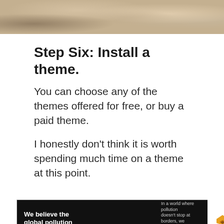[Figure (photo): Partial photo strip at top showing a desk/table scene with blurred objects including what appears to be a laptop and various items]
Step Six: Install a theme.
You can choose any of the themes offered for free, or buy a paid theme.
I honestly don't think it is worth spending much time on a theme at this point.
[Figure (other): Pure Earth advertisement banner. Left dark panel: 'We believe the global pollution crisis can be solved.' with 'can be solved.' in green. Middle text: 'In a world where pollution doesn't stop at borders, we can all be part of the solution. JOIN US.' Right panel: Pure Earth logo with diamond/chevron icon in orange/gold and green.]